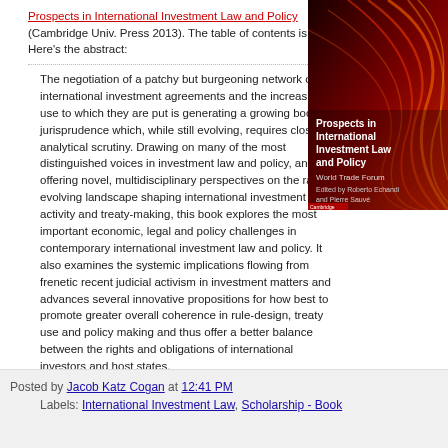Prospects in International Investment Law and Policy (Cambridge Univ. Press 2013). The table of contents is here. Here's the abstract:
[Figure (illustration): Book cover of 'Prospects in International Investment Law and Policy', World Trade Forum, edited by Roberto Echandi and Pierre Sauvé, Cambridge University Press. Red abstract streaks on cover.]
The negotiation of a patchy but burgeoning network of international investment agreements and the increasing use to which they are put is generating a growing body of jurisprudence which, while still evolving, requires closer analytical scrutiny. Drawing on many of the most distinguished voices in investment law and policy, and offering novel, multidisciplinary perspectives on the rapidly evolving landscape shaping international investment activity and treaty-making, this book explores the most important economic, legal and policy challenges in contemporary international investment law and policy. It also examines the systemic implications flowing from frenetic recent judicial activism in investment matters and advances several innovative propositions for how best to promote greater overall coherence in rule-design, treaty use and policy making and thus offer a better balance between the rights and obligations of international investors and host states.
Posted by Jacob Katz Cogan at 12:41 PM
Labels: International Investment Law, Scholarship - Book